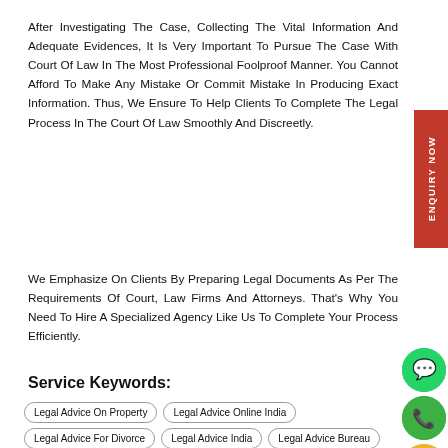After Investigating The Case, Collecting The Vital Information And Adequate Evidences, It Is Very Important To Pursue The Case With Court Of Law In The Most Professional Foolproof Manner. You Cannot Afford To Make Any Mistake Or Commit Mistake In Producing Exact Information. Thus, We Ensure To Help Clients To Complete The Legal Process In The Court Of Law Smoothly And Discreetly.
We Emphasize On Clients By Preparing Legal Documents As Per The Requirements Of Court, Law Firms And Attorneys. That's Why You Need To Hire A Specialized Agency Like Us To Complete Your Process Efficiently.
Service Keywords:
Legal Advice On Property
Legal Advice Online India
Legal Advice For Divorce
Legal Advice India
Legal Advice Bureau